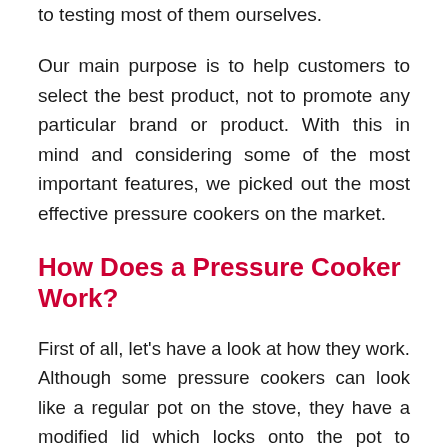to testing most of them ourselves.
Our main purpose is to help customers to select the best product, not to promote any particular brand or product. With this in mind and considering some of the most important features, we picked out the most effective pressure cookers on the market.
How Does a Pressure Cooker Work?
First of all, let's have a look at how they work. Although some pressure cookers can look like a regular pot on the stove, they have a modified lid which locks onto the pot to create a seal. Pressure cookers work by increasing the temperature that is needed for water to boil and, as such, must be used only with liquids. As the temperature is increased, the liquid creates steam which can't escape, causing an